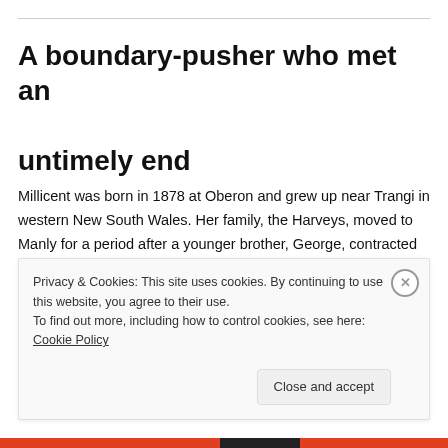A boundary-pusher who met an untimely end
Millicent was born in 1878 at Oberon and grew up near Trangi in western New South Wales. Her family, the Harveys, moved to Manly for a period after a younger brother, George, contracted polio (one of the treatments was “sea-bathing”). She met and married a public servant
Privacy & Cookies: This site uses cookies. By continuing to use this website, you agree to their use.
To find out more, including how to control cookies, see here: Cookie Policy